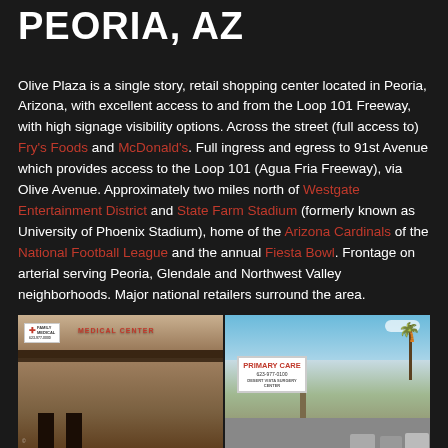PEORIA, AZ
Olive Plaza is a single story, retail shopping center located in Peoria, Arizona, with excellent access to and from the Loop 101 Freeway, with high signage visibility options. Across the street (full access to) Fry's Foods and McDonald's. Full ingress and egress to 91st Avenue which provides access to the Loop 101 (Agua Fria Freeway), via Olive Avenue. Approximately two miles north of Westgate Entertainment District and State Farm Stadium (formerly known as University of Phoenix Stadium), home of the Arizona Cardinals of the National Football League and the annual Fiesta Bowl. Frontage on arterial serving Peoria, Glendale and Northwest Valley neighborhoods. Major national retailers surround the area.
[Figure (photo): Two photos of Olive Plaza shopping center in Peoria, AZ. Left photo shows storefront with Medical Center signage and red cross, brown/tan building facade. Right photo shows a Primary Care sign post (623-977-0100) with Desert Vista Surgery Center text below, palm trees visible, parking lot with cars.]